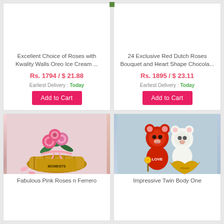[Figure (photo): Product card top-left: Excellent Choice of Roses with Kwality Walls Oreo Ice Cream, price Rs. 1794 / $21.88, Earliest Delivery Today]
[Figure (photo): Product card top-right: 24 Exclusive Red Dutch Roses Bouquet and Heart Shape Chocola..., price Rs. 1895 / $23.11, Earliest Delivery Today]
[Figure (photo): Product card bottom-left: Fabulous Pink Roses n Ferrero - pink roses in basket with Ferrero Moments chocolates]
[Figure (photo): Product card bottom-right: Impressive Twin Body One - two teddy bears (red and white) with heart-shaped chocolate box and golden rose]